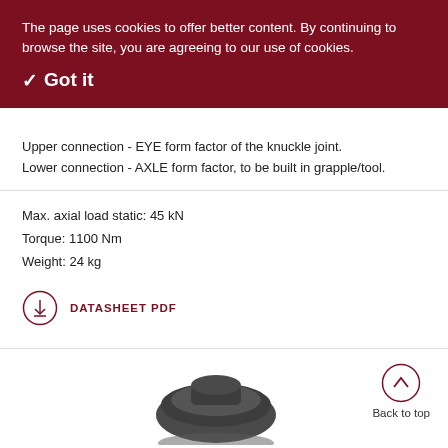The page uses cookies to offer better content. By continuing to browse the site, you are agreeing to our use of cookies.
✓ Got it
Upper connection - EYE form factor of the knuckle joint.
Lower connection - AXLE form factor, to be built in grapple/tool.
Max. axial load static: 45 kN
Torque: 1100 Nm
Weight: 24 kg
DATASHEET PDF
Back to top
[Figure (photo): Bottom portion of a mechanical rotator/swivel component shown in dark grey, partially cropped at bottom of page]